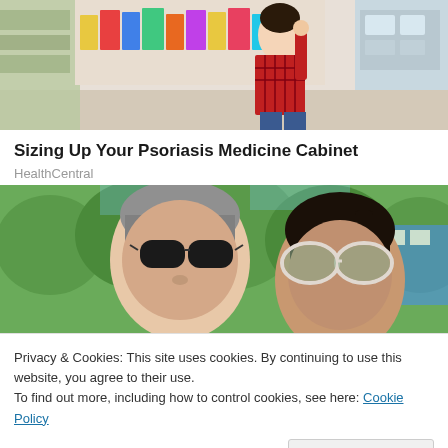[Figure (photo): Woman in red plaid shirt browsing items on a pharmacy shelf, store aisle in background]
Sizing Up Your Psoriasis Medicine Cabinet
HealthCentral
[Figure (photo): Two people wearing sunglasses outdoors with green trees in background]
Privacy & Cookies: This site uses cookies. By continuing to use this website, you agree to their use.
To find out more, including how to control cookies, see here: Cookie Policy
Close and accept
[Figure (photo): Bottom strip showing two partial images side by side]